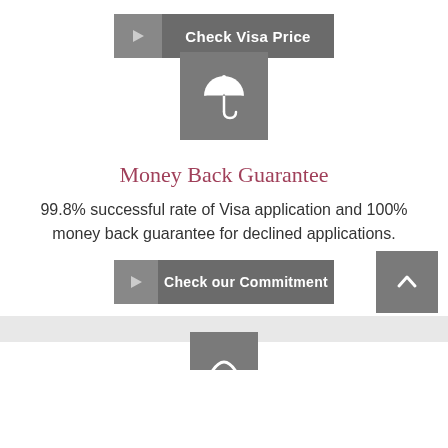[Figure (other): Button: Check Visa Price with play icon on dark gray background]
[Figure (illustration): Umbrella icon in a gray square box]
Money Back Guarantee
99.8% successful rate of Visa application and 100% money back guarantee for declined applications.
[Figure (other): Button: Check our Commitment with play icon on dark gray background]
[Figure (other): Scroll to top button with chevron up icon, gray square]
[Figure (other): Partial next section icon at bottom, gray square partially visible]